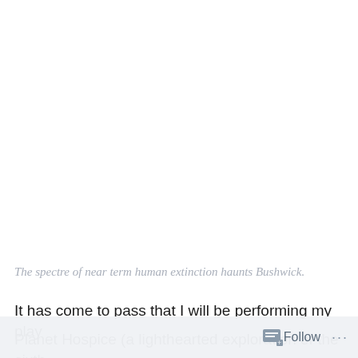The spectre of near term human extinction haunts Bushwick.
It has come to pass that I will be performing my play Planet Hospice (a lighthearted exploration of the sixth
Follow ···